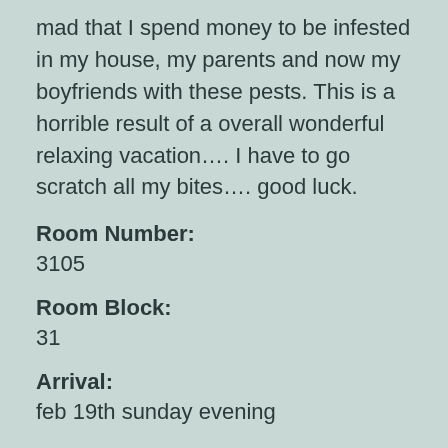mad that I spend money to be infested in my house, my parents and now my boyfriends with these pests. This is a horrible result of a overall wonderful relaxing vacation…. I have to go scratch all my bites…. good luck.
Room Number:
3105
Room Block:
31
Arrival:
feb 19th sunday evening